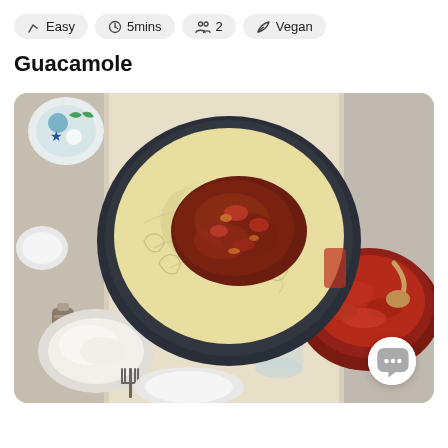Easy
5mins
2
Vegan
Guacamole
[Figure (photo): Overhead/top-down photo of a dining table with a dark bowl of spaghetti bolognese in the center, a red pot of tomato meat sauce with a ladle on the right, a white bowl of grated parmesan on the lower left, a glass jar, a fork at the bottom, and a decorative textile runner with a golden menorah-like motif.]